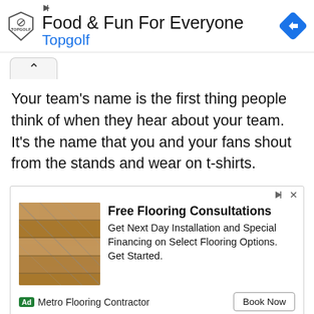[Figure (screenshot): Topgolf advertisement banner with logo and navigation arrow icon. Text reads 'Food & Fun For Everyone' with 'Topgolf' subtitle in blue.]
[Figure (other): Collapse/accordion button with upward chevron arrow, tab-style rounded top corners.]
Your team's name is the first thing people think of when they hear about your team. It's the name that you and your fans shout from the stands and wear on t-shirts.
[Figure (screenshot): Advertisement for Metro Flooring Contractor. Shows hardwood flooring image on left. Text: 'Free Flooring Consultations', 'Get Next Day Installation and Special Financing on Select Flooring Options. Get Started.' Bottom row: 'Ad Metro Flooring Contractor' and 'Book Now' button.]
Your team's name is the thing that, more than anything,